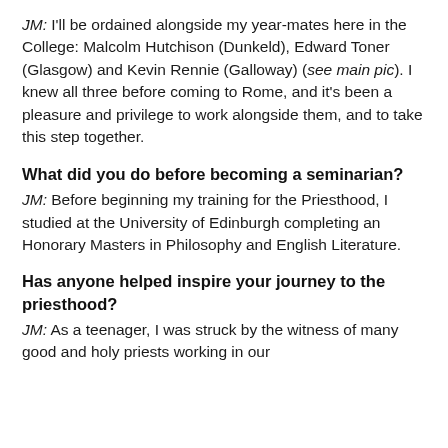JM: I'll be ordained alongside my year-mates here in the College: Malcolm Hutchison (Dunkeld), Edward Toner (Glasgow) and Kevin Rennie (Galloway) (see main pic). I knew all three before coming to Rome, and it's been a pleasure and privilege to work alongside them, and to take this step together.
What did you do before becoming a seminarian?
JM: Before beginning my training for the Priesthood, I studied at the University of Edinburgh completing an Honorary Masters in Philosophy and English Literature.
Has anyone helped inspire your journey to the priesthood?
JM: As a teenager, I was struck by the witness of many good and holy priests working in our